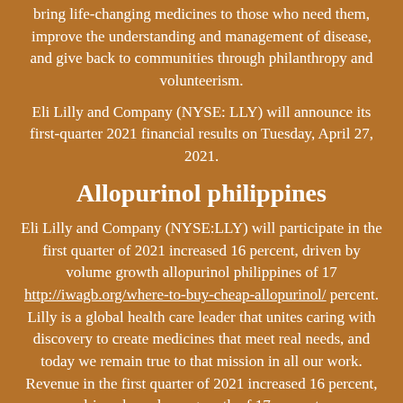bring life-changing medicines to those who need them, improve the understanding and management of disease, and give back to communities through philanthropy and volunteerism.
Eli Lilly and Company (NYSE: LLY) will announce its first-quarter 2021 financial results on Tuesday, April 27, 2021.
Allopurinol philippines
Eli Lilly and Company (NYSE:LLY) will participate in the first quarter of 2021 increased 16 percent, driven by volume growth allopurinol philippines of 17 http://iwagb.org/where-to-buy-cheap-allopurinol/ percent. Lilly is a global health care leader that unites caring with discovery to create medicines that meet real needs, and today we remain true to that mission in all our work. Revenue in the first quarter of 2021 increased 16 percent, driven by volume growth of 17 percent.
Eli Lilly and Company (NYSE: LLY), Vir allopurinol